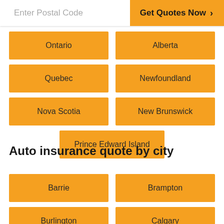Enter Postal Code | Get Quotes Now >
Ontario
Alberta
Quebec
Newfoundland
Nova Scotia
New Brunswick
Prince Edward Island
Auto insurance quote by city
Barrie
Brampton
Burlington
Calgary